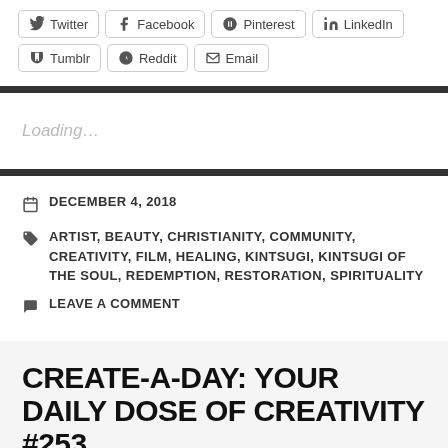Twitter
Facebook
Pinterest
LinkedIn
Tumblr
Reddit
Email
Loading…
DECEMBER 4, 2018
ARTIST, BEAUTY, CHRISTIANITY, COMMUNITY, CREATIVITY, FILM, HEALING, KINTSUGI, KINTSUGI OF THE SOUL, REDEMPTION, RESTORATION, SPIRITUALITY
LEAVE A COMMENT
CREATE-A-DAY: YOUR DAILY DOSE OF CREATIVITY #253